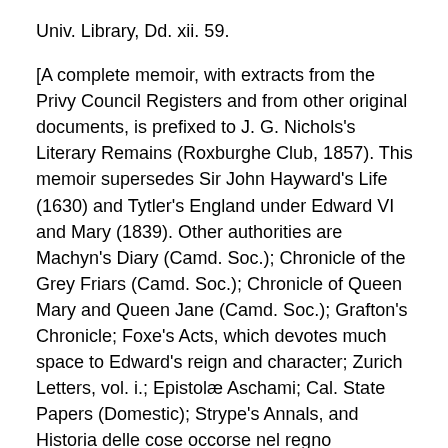Univ. Library, Dd. xii. 59.
[A complete memoir, with extracts from the Privy Council Registers and from other original documents, is prefixed to J. G. Nichols's Literary Remains (Roxburghe Club, 1857). This memoir supersedes Sir John Hayward's Life (1630) and Tytler's England under Edward VI and Mary (1839). Other authorities are Machyn's Diary (Camd. Soc.); Chronicle of the Grey Friars (Camd. Soc.); Chronicle of Queen Mary and Queen Jane (Camd. Soc.); Grafton's Chronicle; Foxe's Acts, which devotes much space to Edward's reign and character; Zurich Letters, vol. i.; Epistolæ Aschami; Cal. State Papers (Domestic); Strype's Annals, and Historia delle cose occorse nel regno d'Inghilterra in materia del Duca di Nortomberlan (Venice, 1558). Mr. Froude's History of England, Canon Dixon's Church History, and Lingard's History give elaborate accounts of the events of the time.]